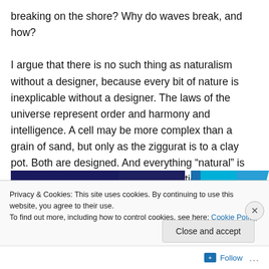breaking on the shore? Why do waves break, and how?

I argue that there is no such thing as naturalism without a designer, because every bit of nature is inexplicable without a designer. The laws of the universe represent order and harmony and intelligence. A cell may be more complex than a grain of sand, but only as the ziggurat is to a clay pot. Both are designed. And everything “natural” is so elegantly structured that its aesthetic far outweighs the clumsy pot made by man.
[Figure (other): Partial horizontal bar strip showing dark navy and cyan colored bars, partially visible at bottom of text content]
Privacy & Cookies: This site uses cookies. By continuing to use this website, you agree to their use.
To find out more, including how to control cookies, see here: Cookie Policy
Close and accept
Follow